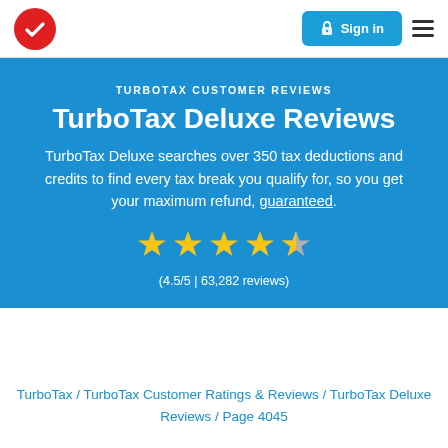[Figure (logo): TurboTax red circle checkmark logo in navigation header]
Sign in  ☰
TURBOTAX CUSTOMER REVIEWS
TurboTax Deluxe Reviews
TurboTax Deluxe searches over 350 tax deductions and credits to find every tax break you qualify for, so you get your maximum refund, guaranteed.
[Figure (other): 4.5 out of 5 stars rating shown as 4 full gold stars and 1 half gold/grey star]
(4.5/5 | 63,282 reviews)
TurboTax / TurboTax Customer Ratings & Reviews / TurboTax Deluxe Reviews / Page 4045